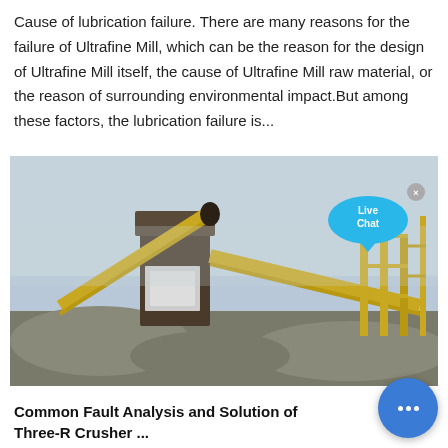Cause of lubrication failure. There are many reasons for the failure of Ultrafine Mill, which can be the reason for the design of Ultrafine Mill itself, the cause of Ultrafine Mill raw material, or the reason of surrounding environmental impact.But among these factors, the lubrication failure is...
[Figure (photo): Industrial mining/crushing equipment site showing conveyor belts, crushers, and piles of aggregate stone material. A 'Live Chat' button overlay is visible in the upper right corner of the image.]
Common Fault Analysis and Solution of Three-R Crusher ...
2018-12-13 · 1. The displacement sensor is damaged.